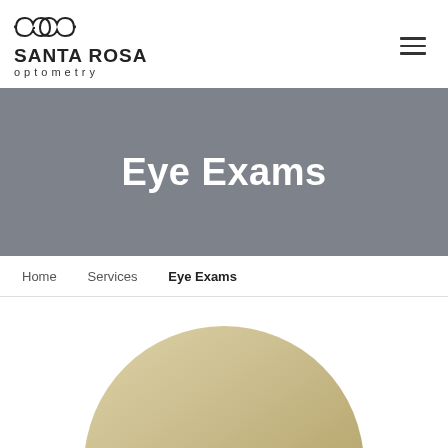[Figure (logo): Santa Rosa Optometry logo with glasses icon above the text SANTA ROSA optometry]
Eye Exams
Home   Services   Eye Exams
[Figure (photo): Partial view of a large golden/beige circle, likely a decorative image related to eye exams]